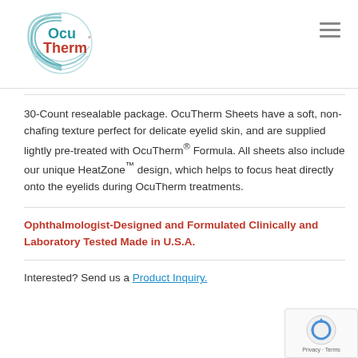[Figure (logo): OcuTherm logo with circular wave design and red/teal text]
30-Count resealable package. OcuTherm Sheets have a soft, non-chafing texture perfect for delicate eyelid skin, and are supplied lightly pre-treated with OcuTherm® Formula. All sheets also include our unique HeatZone™ design, which helps to focus heat directly onto the eyelids during OcuTherm treatments.
Ophthalmologist-Designed and Formulated Clinically and Laboratory Tested Made in U.S.A.
Interested? Send us a Product Inquiry.